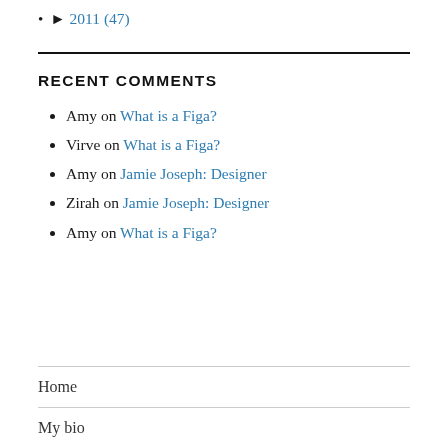► 2011 (47)
RECENT COMMENTS
Amy on What is a Figa?
Virve on What is a Figa?
Amy on Jamie Joseph: Designer
Zirah on Jamie Joseph: Designer
Amy on What is a Figa?
Home
My bio